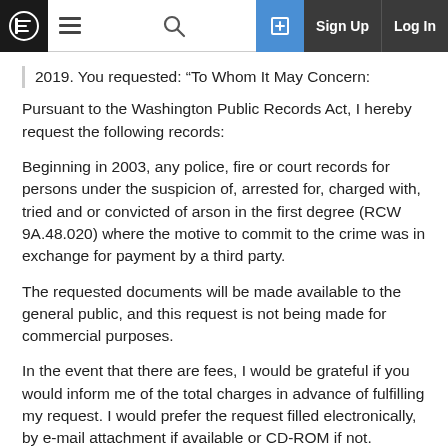Navigation bar with logo, hamburger menu, search, sign up and log in
2019. You requested: “To Whom It May Concern:
Pursuant to the Washington Public Records Act, I hereby request the following records:
Beginning in 2003, any police, fire or court records for persons under the suspicion of, arrested for, charged with, tried and or convicted of arson in the first degree (RCW 9A.48.020) where the motive to commit to the crime was in exchange for payment by a third party.
The requested documents will be made available to the general public, and this request is not being made for commercial purposes.
In the event that there are fees, I would be grateful if you would inform me of the total charges in advance of fulfilling my request. I would prefer the request filled electronically, by e-mail attachment if available or CD-ROM if not.